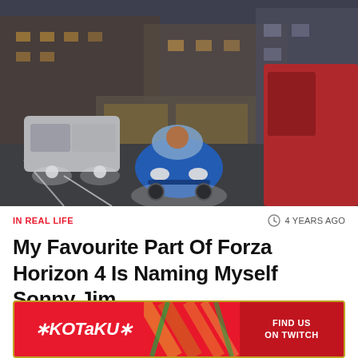[Figure (screenshot): A small blue Peel P50 microcar driving down a city street in Forza Horizon 4 video game, with a white van to the left and a red van to the right, headlights on, city buildings in the background.]
IN REAL LIFE
4 YEARS AGO
My Favourite Part Of Forza Horizon 4 Is Naming Myself Sonny Jim
Cameron Kunzelman | 3
[Figure (logo): Kotaku banner advertisement with red background, Kotaku logo on the left, diagonal stripe pattern divider, and FIND US ON TWITCH text on the right.]